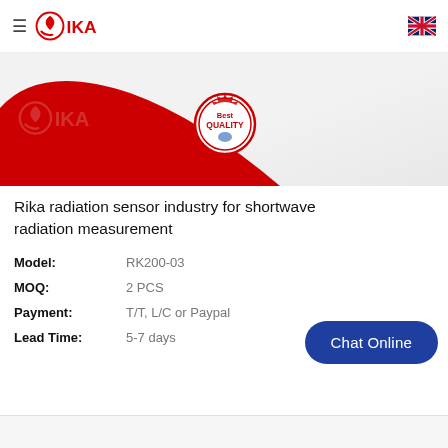RIKA - navigation header with logo and UK flag
[Figure (illustration): Red and white banner with RIKA logo watermark, decorative red curved shape on left, and Best Quality badge/seal in center-right area]
Rika radiation sensor industry for shortwave radiation measurement
| Model: | RK200-03 |
| MOQ: | 2 PCS |
| Payment: | T/T, L/C or Paypal |
| Lead Time: | 5-7 days |
[Figure (other): Chat Online button (dark blue rounded rectangle)]